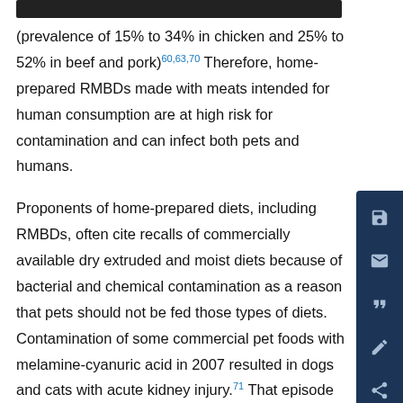(prevalence of 15% to 34% in chicken and 25% to 52% in beef and pork)60,63,70 Therefore, home-prepared RMBDs made with meats intended for human consumption are at high risk for contamination and can infect both pets and humans.
Proponents of home-prepared diets, including RMBDs, often cite recalls of commercially available dry extruded and moist diets because of bacterial and chemical contamination as a reason that pets should not be fed those types of diets. Contamination of some commercial pet foods with melamine-cyanuric acid in 2007 resulted in dogs and cats with acute kidney injury.71 That episode was caused by the supplier deliberately adulterating a human-grade food ingredient that